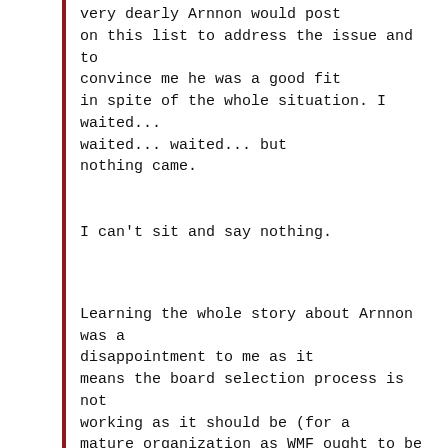very dearly Arnnon would post on this list to address the issue and to convince me he was a good fit in spite of the whole situation. I waited... waited... waited... but nothing came.
I can't sit and say nothing.
Learning the whole story about Arnnon was a disappointment to me as it means the board selection process is not working as it should be (for a mature organization as WMF ought to be by now). If the screening process had been done properly, I believe the board would have refrained from selecting him, or at least would have taken the time to address the issue before any appointement announcement.